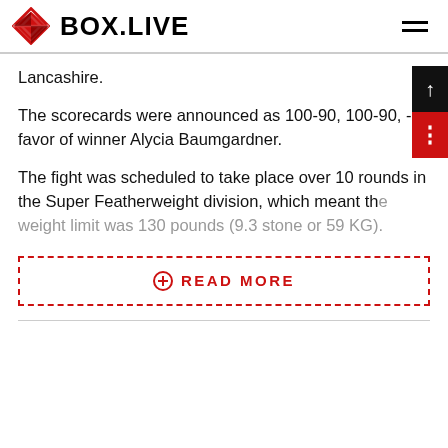BOX.LIVE
Lancashire.
The scorecards were announced as 100-90, 100-90, - in favor of winner Alycia Baumgardner.
The fight was scheduled to take place over 10 rounds in the Super Featherweight division, which meant the weight limit was 130 pounds (9.3 stone or 59 KG).
READ MORE